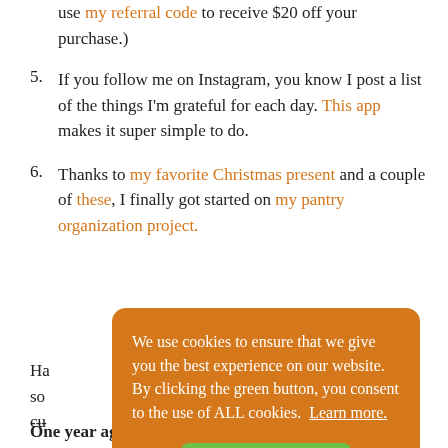(use my referral code to receive $20 off your purchase.)
5. If you follow me on Instagram, you know I post a list of the things I'm grateful for each day. This app makes it super simple to do.
6. Thanks to my favorite Christmas present and a couple of these, I finally got started on my pantry organization project.
Ha... so... cu...
---
One year ago: Homemade Bacon Jam
[Figure (screenshot): Cookie consent overlay with orange background. Text reads: 'We use cookies to ensure that we give you the best experience on our website. By clicking the green button, you consent to the use of ALL cookies. Learn more.' A green 'Got it!' button is displayed below.]